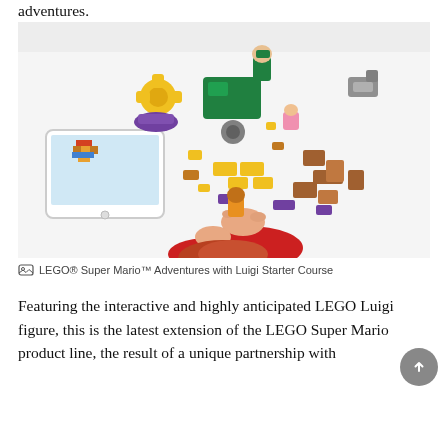adventures.
[Figure (photo): Overhead view of a child with red hair wearing a red shirt, assembling LEGO Super Mario pieces on a white surface. A tablet showing a LEGO character is visible on the left. Colorful LEGO bricks and character figures are spread around.]
LEGO® Super Mario™ Adventures with Luigi Starter Course
Featuring the interactive and highly anticipated LEGO Luigi figure, this is the latest extension of the LEGO Super Mario product line, the result of a unique partnership with